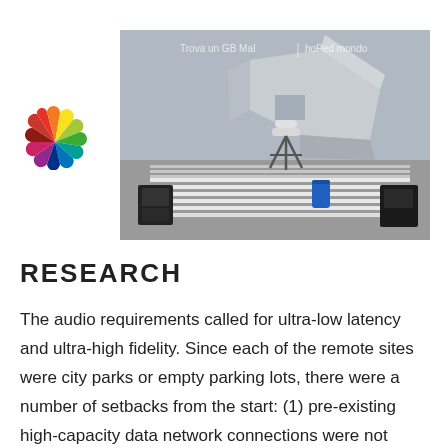[Figure (logo): Colorful pinwheel/fan logo with segments in red, orange, yellow, green, blue, purple colors]
[Figure (photo): Outdoor event setup with rows of white chairs, a large cylindrical speaker/PA on a tripod stand, modern silver angular building (Walt Disney Concert Hall or similar) in background, blue barrel visible, overcast sky. Watermark text overlay reads 'Trova un GB MaI' and 'hoPed mondo']
RESEARCH
The audio requirements called for ultra-low latency and ultra-high fidelity. Since each of the remote sites were city parks or empty parking lots, there were a number of setbacks from the start: (1) pre-existing high-capacity data network connections were not present, or